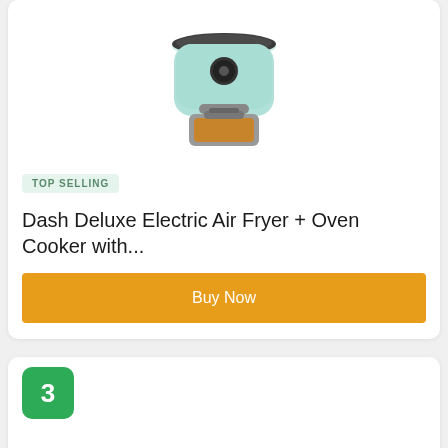[Figure (photo): Mint/teal colored Dash Deluxe Electric Air Fryer + Oven Cooker product photo]
TOP SELLING
Dash Deluxe Electric Air Fryer + Oven Cooker with...
Buy Now
3
[Figure (photo): Mint/teal colored Dash DMAF360GBAQ02 Aircrisp Pro Digital Air Fryer product photo]
EDITORS CHOICE
Dash DMAF360GBAQ02 Aircrisp® Pro Digital Air